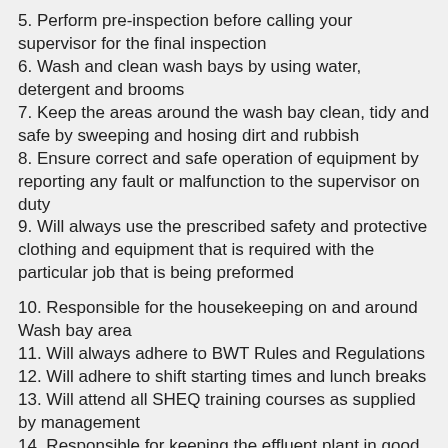5. Perform pre-inspection before calling your supervisor for the final inspection
6. Wash and clean wash bays by using water, detergent and brooms
7. Keep the areas around the wash bay clean, tidy and safe by sweeping and hosing dirt and rubbish
8. Ensure correct and safe operation of equipment by reporting any fault or malfunction to the supervisor on duty
9. Will always use the prescribed safety and protective clothing and equipment that is required with the particular job that is being preformed
10. Responsible for the housekeeping on and around Wash bay area
11. Will always adhere to BWT Rules and Regulations
12. Will adhere to shift starting times and lunch breaks
13. Will attend all SHEQ training courses as supplied by management
14. Responsible for keeping the effluent plant in good working